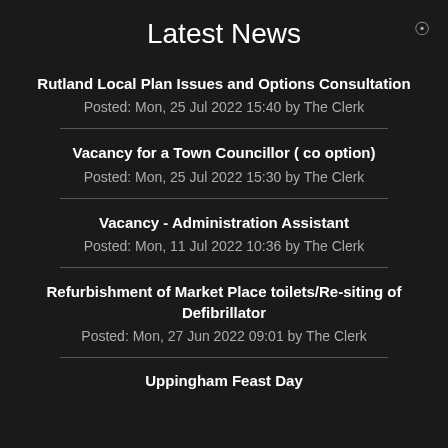Latest News
Rutland Local Plan Issues and Options Consultation
Posted: Mon, 25 Jul 2022 15:40 by The Clerk
Vacancy for a Town Councillor ( co option)
Posted: Mon, 25 Jul 2022 15:30 by The Clerk
Vacancy - Administration Assistant
Posted: Mon, 11 Jul 2022 10:36 by The Clerk
Refurbishment of Market Place toilets/Re-siting of Defibrillator
Posted: Mon, 27 Jun 2022 09:01 by The Clerk
Uppingham Feast Day